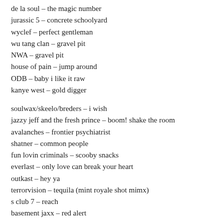de la soul – the magic number
jurassic 5 – concrete schoolyard
wyclef – perfect gentleman
wu tang clan – gravel pit
NWA – gravel pit
house of pain – jump around
ODB – baby i like it raw
kanye west – gold digger
soulwax/skeelo/breders – i wish
jazzy jeff and the fresh prince – boom! shake the room
avalanches – frontier psychiatrist
shatner – common people
fun lovin criminals – scooby snacks
everlast – only love can break your heart
outkast – hey ya
terrorvision – tequila (mint royale shot mimx)
s club 7 – reach
basement jaxx – red alert